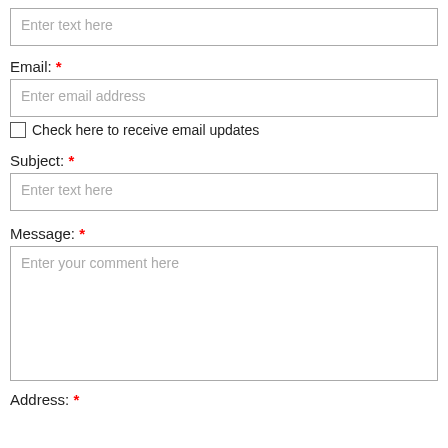[Figure (other): Text input field with placeholder 'Enter text here']
Email: *
[Figure (other): Email input field with placeholder 'Enter email address']
Check here to receive email updates
Subject: *
[Figure (other): Text input field with placeholder 'Enter text here']
Message: *
[Figure (other): Textarea with placeholder 'Enter your comment here']
Address: *